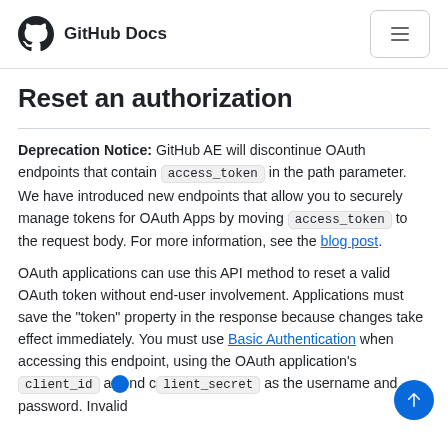GitHub Docs
Reset an authorization
Deprecation Notice: GitHub AE will discontinue OAuth endpoints that contain access_token in the path parameter. We have introduced new endpoints that allow you to securely manage tokens for OAuth Apps by moving access_token to the request body. For more information, see the blog post.
OAuth applications can use this API method to reset a valid OAuth token without end-user involvement. Applications must save the "token" property in the response because changes take effect immediately. You must use Basic Authentication when accessing this endpoint, using the OAuth application's client_id and client_secret as the username and password. Invalid